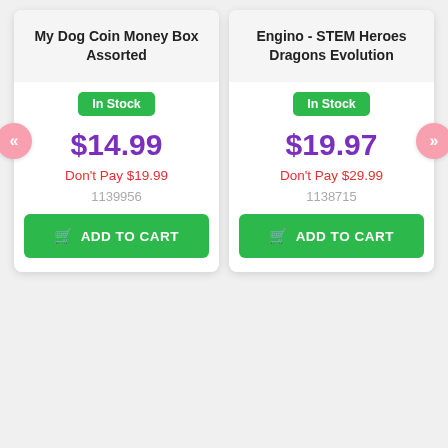My Dog Coin Money Box Assorted
In Stock
$14.99
Don't Pay $19.99
1139956
ADD TO CART
Engino - STEM Heroes Dragons Evolution
In Stock
$19.97
Don't Pay $29.99
1138715
ADD TO CART